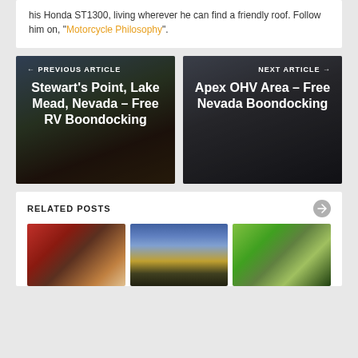his Honda ST1300, living wherever he can find a friendly roof. Follow him on, "Motorcycle Philosophy".
[Figure (photo): Previous article navigation card: Stewart's Point, Lake Mead, Nevada – Free RV Boondocking. Dark outdoor desert/lake scene with truck and trailer.]
[Figure (photo): Next article navigation card: Apex OHV Area – Free Nevada Boondocking. Dark desert scene with enclosed trailer.]
RELATED POSTS
[Figure (photo): Related post thumbnail 1: Woman with pink hair and dog in vehicle.]
[Figure (photo): Related post thumbnail 2: Dramatic sunset/cloud sky over mountains.]
[Figure (photo): Related post thumbnail 3: Aerial view of campground with vehicles and people on grass.]